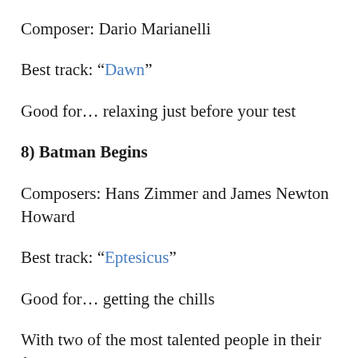Composer: Dario Marianelli
Best track: “Dawn”
Good for… relaxing just before your test
8) Batman Begins
Composers: Hans Zimmer and James Newton Howard
Best track: “Eptesicus”
Good for… getting the chills
With two of the most talented people in their field